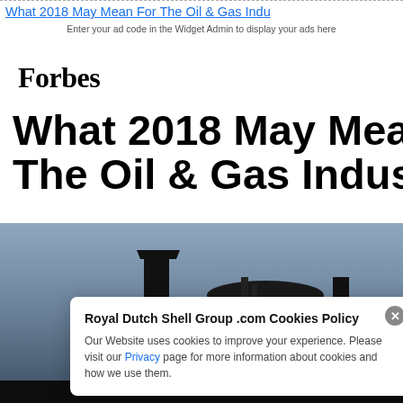What 2018 May Mean For The Oil & Gas Indu...
Enter your ad code in the Widget Admin to display your ads here
Jan 2nd, 2018 by John Donovan. Comments are off for this post
[Figure (logo): Forbes logo in bold serif font]
What 2018 May Mean For The Oil & Gas Industry
[Figure (photo): Industrial oil and gas tower/chimney silhouette against a blue-grey dusk sky]
Royal Dutch Shell Group .com Cookies Policy
Our Website uses cookies to improve your experience. Please visit our Privacy page for more information about cookies and how we use them.